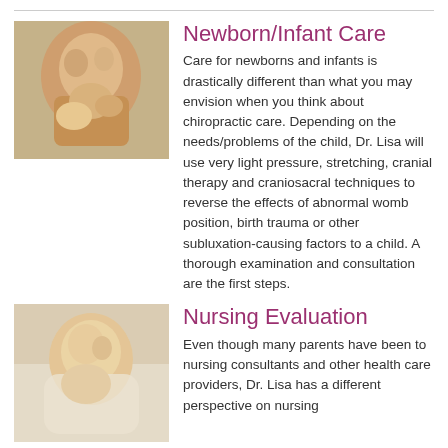[Figure (photo): Mother holding newborn infant, close-up photo]
Newborn/Infant Care
Care for newborns and infants is drastically different than what you may envision when you think about chiropractic care. Depending on the needs/problems of the child, Dr. Lisa will use very light pressure, stretching, cranial therapy and craniosacral techniques to reverse the effects of abnormal womb position, birth trauma or other subluxation-causing factors to a child. A thorough examination and consultation are the first steps.
[Figure (photo): Infant nursing, close-up photo]
Nursing Evaluation
Even though many parents have been to nursing consultants and other health care providers, Dr. Lisa has a different perspective on nursing with a chiropractic lens and dealing with